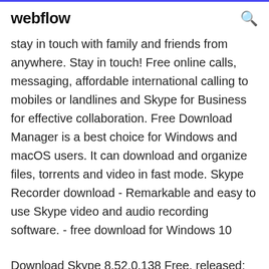webflow
stay in touch with family and friends from anywhere. Stay in touch! Free online calls, messaging, affordable international calling to mobiles or landlines and Skype for Business for effective collaboration. Free Download Manager is a best choice for Windows and macOS users. It can download and organize files, torrents and video in fast mode. Skype Recorder download - Remarkable and easy to use Skype video and audio recording software. - free download for Windows 10
Download Skype 8.52.0.138 Free. released: 14 Jun 2019 - 5 months ago; Skype 7.22.73.109 released: 10 Nov 2014 - 5 years ago; Skype